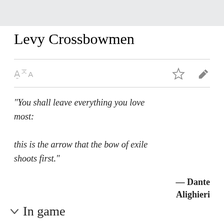Levy Crossbowmen
"You shall leave everything you love most:
this is the arrow that the bow of exile shoots first."
— Dante Alighieri
In game